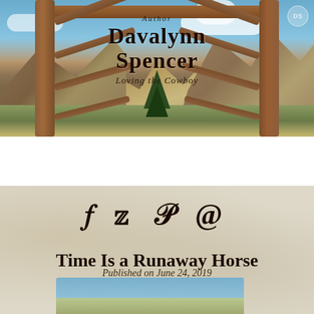[Figure (photo): Website header photo showing a rustic wooden ranch gate with mountains and blue sky in the background, overlaid with author name text]
Author Davalynn Spencer – Loving the Cowboy
NAVIGATION
[Figure (infographic): Social media icons: Facebook (f), Twitter (bird), Pinterest (p), Email (@)]
Time Is a Runaway Horse
Published on June 24, 2019
[Figure (photo): Partial bottom image showing sky and landscape, cut off at bottom of page]